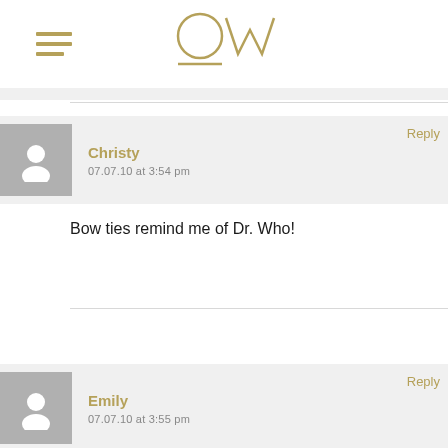[Figure (logo): OW logo with decorative underline, in gold/khaki color, centered in header]
Reply
Christy
07.07.10 at 3:54 pm
Bow ties remind me of Dr. Who!
Reply
Emily
07.07.10 at 3:55 pm
Their bowties are so sweet! I'd love to win the orange